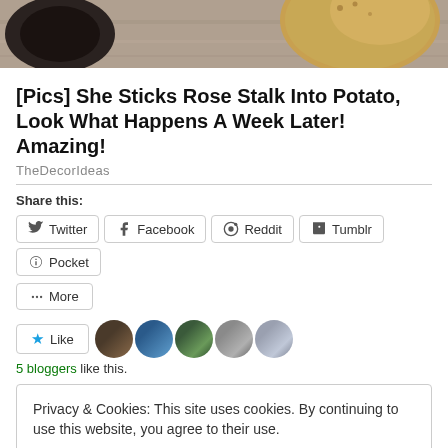[Figure (photo): Partial photo of a potato and dark object on wooden surface, cropped at top]
[Pics] She Sticks Rose Stalk Into Potato, Look What Happens A Week Later! Amazing!
TheDecorIdeas
Share this:
Twitter  Facebook  Reddit  Tumblr  Pocket
More
Like
5 bloggers like this.
Privacy & Cookies: This site uses cookies. By continuing to use this website, you agree to their use.
To find out more, including how to control cookies, see here: Cookie Policy
Close and accept
PPT Debate